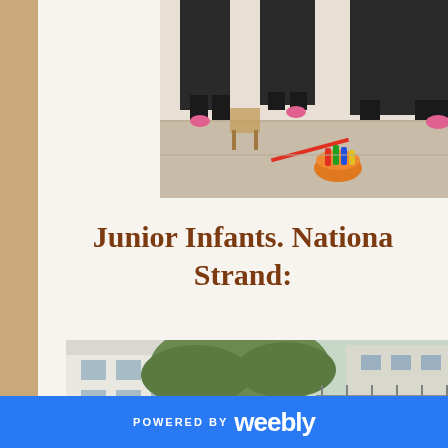[Figure (photo): Classroom photo showing students standing around a table with an orange bowl of crayons/markers on it, viewed from above/side angle]
Junior Infants. Nationa Strand:
[Figure (photo): Outdoor photo showing young children gathered around a large tree, holding books/papers, school building visible in background]
POWERED BY weebly